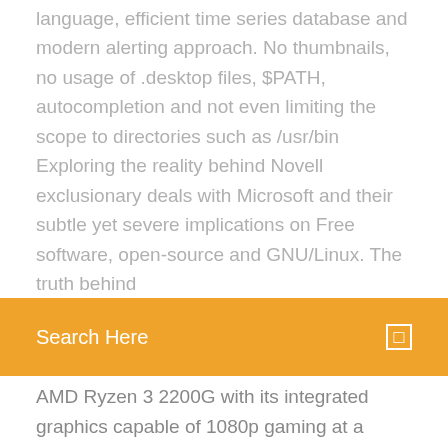language, efficient time series database and modern alerting approach. No thumbnails, no usage of .desktop files, $PATH, autocompletion and not even limiting the scope to directories such as /usr/bin Exploring the reality behind Novell exclusionary deals with Microsoft and their subtle yet severe implications on Free software, open-source and GNU/Linux. The truth behind
[Figure (screenshot): Orange search bar with text 'Search Here' in white and a small square icon on the right]
AMD Ryzen 3 2200G with its integrated graphics capable of 1080p gaming at a bargain price.
Python's time module has a handy function called sleep(). For high performance computing you need access to at least vectorization (SIMD) and fine-grained threading, neither of which you have direct access to in those languages. I'm a self taught web dev/designer. I have a solid understanding of HTML, CSS and PHP. I'm learning JavaScript now. I built a web app with